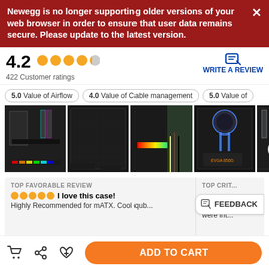Newegg is no longer supporting older versions of your web browser in order to ensure that user data remains secure. Please update to the latest version.
4.2 ★★★★☆ 422 Customer ratings
WRITE A REVIEW
5.0 Value of Airflow  4.0 Value of Cable management  5.0 Value of
[Figure (photo): PC case interior showing RGB RAM and CPU cooler]
[Figure (photo): PC case exterior dark mesh panel]
[Figure (photo): PC case with RGB strip]
[Figure (photo): PC build interior with liquid cooling]
[Figure (photo): PC case partially visible, cropped]
TOP FAVORABLE REVIEW
TOP CRIT...
I love this case!
Highly Recommended for mATX. Cool qub...
FEEDBACK
ADD TO CART